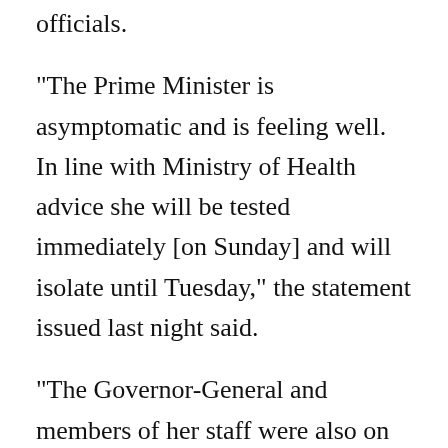officials.
“The Prime Minister is asymptomatic and is feeling well. In line with Ministry of Health advice she will be tested immediately [on Sunday] and will isolate until Tuesday,” the statement issued last night said.
“The Governor-General and members of her staff were also on board and are following the same isolation instructions.
“The Prime Minister and Governor-General were in Northland undertaking advance filming at the Waitangi Treaty Grounds, at the invitation of the